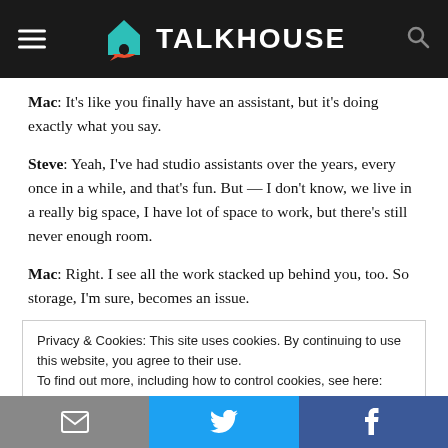TALKHOUSE
Mac: It’s like you finally have an assistant, but it’s doing exactly what you say.
Steve: Yeah, I’ve had studio assistants over the years, every once in a while, and that’s fun. But — I don’t know, we live in a really big space, I have lot of space to work, but there’s still never enough room.
Mac: Right. I see all the work stacked up behind you, too. So storage, I’m sure, becomes an issue.
Privacy & Cookies: This site uses cookies. By continuing to use this website, you agree to their use.
To find out more, including how to control cookies, see here: Cookie Policy
Email | Twitter | Facebook